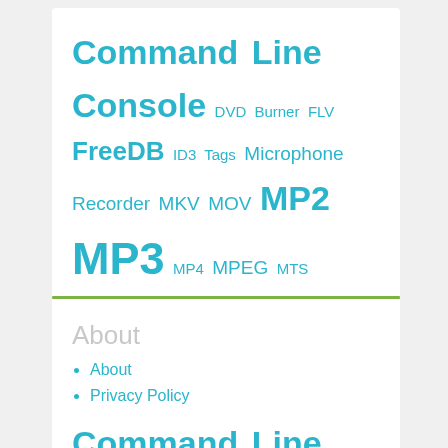Command Line Console DVD Burner FLV FreeDB ID3 Tags Microphone Recorder MKV MOV MP2 MP3 MP4 MPEG MTS PCM WAV Play Audio CD Play CDA Tracks Rip Audio CD Shell Command Line VB VOB Vorbis OGG WASAPI WASAPI loopback WEBM WMA WMV
About
About
Privacy Policy